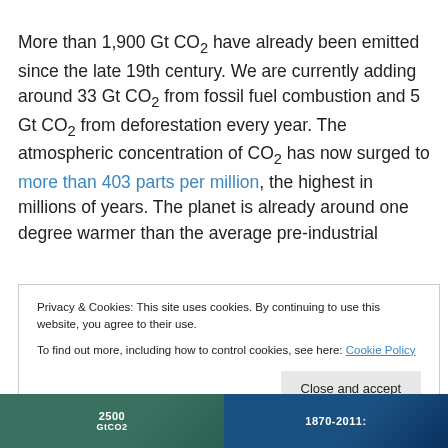More than 1,900 Gt CO₂ have already been emitted since the late 19th century. We are currently adding around 33 Gt CO₂ from fossil fuel combustion and 5 Gt CO₂ from deforestation every year. The atmospheric concentration of CO₂ has now surged to more than 403 parts per million, the highest in millions of years. The planet is already around one degree warmer than the average pre-industrial
Privacy & Cookies: This site uses cookies. By continuing to use this website, you agree to their use.
To find out more, including how to control cookies, see here: Cookie Policy
[Figure (other): Bottom strip showing two partially visible images with labels: left shows '2500 GtCO2', right shows '1870-2011:']